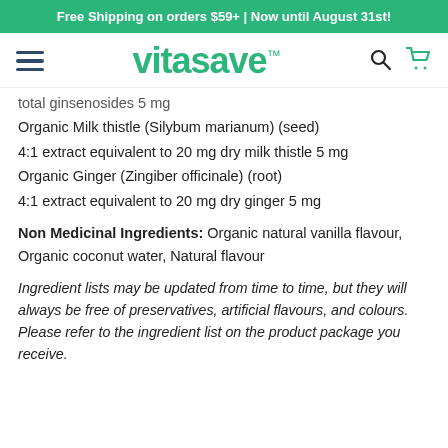Free Shipping on orders $59+ | Now until August 31st!
[Figure (logo): Vitasave logo with hamburger menu, search icon, and cart icon]
total ginsenosides 5 mg
Organic Milk thistle (Silybum marianum) (seed)
4:1 extract equivalent to 20 mg dry milk thistle 5 mg
Organic Ginger (Zingiber officinale) (root)
4:1 extract equivalent to 20 mg dry ginger 5 mg
Non Medicinal Ingredients: Organic natural vanilla flavour, Organic coconut water, Natural flavour
Ingredient lists may be updated from time to time, but they will always be free of preservatives, artificial flavours, and colours. Please refer to the ingredient list on the product package you receive.